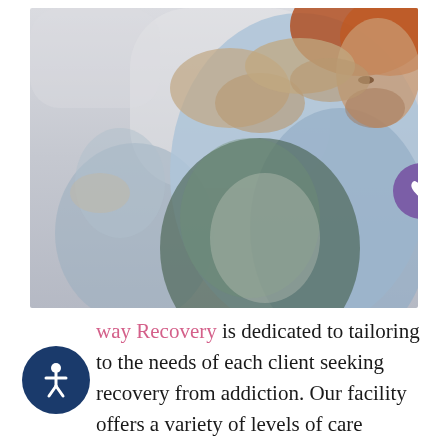[Figure (photo): Two people hugging in a group therapy or support setting. A person in a plaid/checked shirt embraces someone in a light blue shirt. In the background, a woman in light blue sits observing. A purple phone icon button is visible in the upper right of the image.]
way Recovery is dedicated to tailoring to the needs of each client seeking recovery from addiction. Our facility offers a variety of levels of care